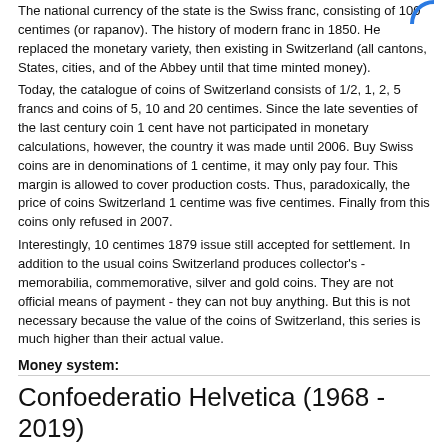The national currency of the state is the Swiss franc, consisting of 100 centimes (or rapanov). The history of modern franc in 1850. He replaced the monetary variety, then existing in Switzerland (all cantons, States, cities, and of the Abbey until that time minted money).
Today, the catalogue of coins of Switzerland consists of 1/2, 1, 2, 5 francs and coins of 5, 10 and 20 centimes. Since the late seventies of the last century coin 1 cent have not participated in monetary calculations, however, the country it was made until 2006. Buy Swiss coins are in denominations of 1 centime, it may only pay four. This margin is allowed to cover production costs. Thus, paradoxically, the price of coins Switzerland 1 centime was five centimes. Finally from this coins only refused in 2007.
Interestingly, 10 centimes 1879 issue still accepted for settlement. In addition to the usual coins Switzerland produces collector's - memorabilia, commemorative, silver and gold coins. They are not official means of payment - they can not buy anything. But this is not necessary because the value of the coins of Switzerland, this series is much higher than their actual value.
Money system:
Confoederatio Helvetica (1968 - 2019)
1 franc = 100 rappen (centimes)
| RE: | 1 rappen | 2 rappen | 5 rappen | 10 rappen | 20 rappen | ½ franc |
| --- | --- | --- | --- | --- | --- | --- |